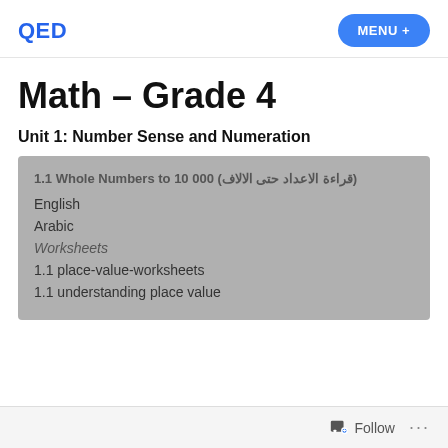QED | MENU +
Math – Grade 4
Unit 1: Number Sense and Numeration
1.1 Whole Numbers to 10 000 (قراءة الاعداد حتى الالاف)
English
Arabic
Worksheets
1.1 place-value-worksheets
1.1 understanding place value
Follow ...